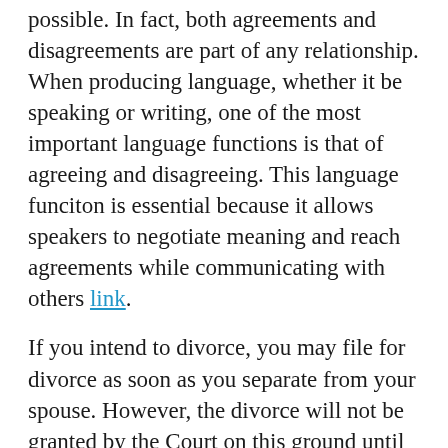possible. In fact, both agreements and disagreements are part of any relationship. When producing language, whether it be speaking or writing, one of the most important language functions is that of agreeing and disagreeing. This language funciton is essential because it allows speakers to negotiate meaning and reach agreements while communicating with others link.
If you intend to divorce, you may file for divorce as soon as you separate from your spouse. However, the divorce will not be granted by the Court on this ground until you have actually lived apart and separate for 1 year. A Separation Agreement may be submitted to the court prior to the divorce proceedings or can be considered by the presiding judge in the final divorce judgment. If your spouse committed adultery, you can file for divorce on these grounds any time after it becomes known divorce agreement template alberta. QUICK DISCLAIMER: Im